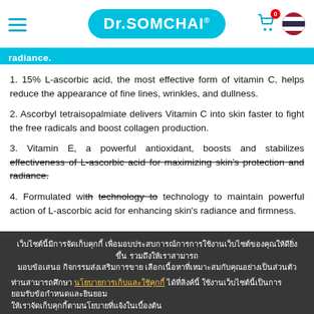Dr.SOMCHAI®
radiance.
1. 15% L-ascorbic acid, the most effective form of vitamin C, helps reduce the appearance of fine lines, wrinkles, and dullness.
2. Ascorbyl tetraisopalmiate delivers Vitamin C into skin faster to fight the free radicals and boost collagen production.
3. Vitamin E, a powerful antioxidant, boosts and stabilizes effectiveness of L-ascorbic acid for maximizing skin's protection and radiance.
4. Formulated with technology to maintain powerful action of L-ascorbic acid for enhancing skin's radiance and firmness.
เว็บไซต์นี้มีการจัดเก็บคุกกี้ เพื่อมอบประสบการณ์การการใช้งานเว็บไซต์ของคุณให้ดียิ่งขึ้น รวมถึงให้เราสามารถมอบข้อเสนอ กิจกรรมส่งเสริมการขาย เลือกเนื้อหาที่เหมาะสมกับคุณอย่างเป็นส่วนตัว
ท่านสามารถศึกษา นโยบายการเก็บและใช้คุกกี้ ได้ที่ลิงค์นี้ ใช้งานเว็บไซต์นี้เป็นการยอมรับข้อกำหนดและยินยอมให้เราจัดเก็บคุกกี้ตามนโยบายที่แจ้งในเบื้องต้น
ยอมรับ